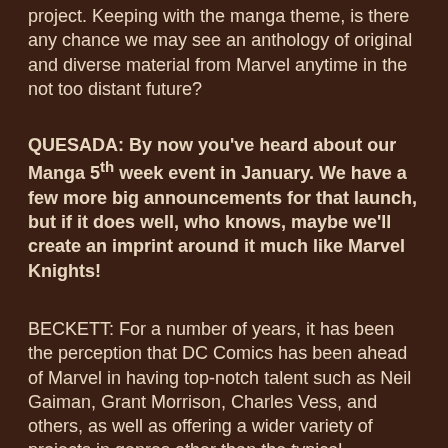project. Keeping with the manga theme, is there any chance we may see an anthology of original and diverse material from Marvel anytime in the not too distant future?
QUESADA: By now you've heard about our Manga 5th week event in January. We have a few more big announcements for that launch, but if it does well, who knows, maybe we'll create an imprint around it much like Marvel Knights!
BECKETT: For a number of years, it has been the perception that DC Comics has been ahead of Marvel in having top-notch talent such as Neil Gaiman, Grant Morrison, Charles Vess, and others, as well as offering a wider variety of projects in genres other than the typical superhero stories that are a staple of the industry. However, this has certainly changed with many big name creators coming to work for Marvel, along with the expansion to a mature line and a creator-owned line. How has this major